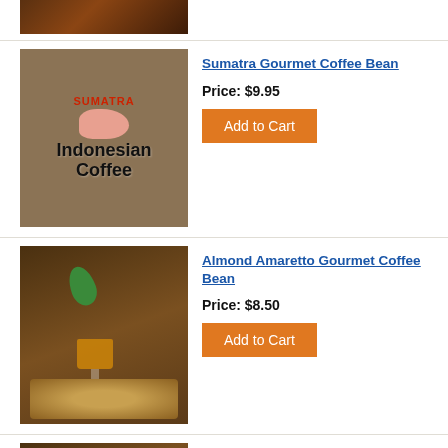[Figure (photo): Partial top image of coffee beans or coffee cup, cropped]
[Figure (photo): Sumatra Indonesian Coffee product image showing green coffee beans and a map of Sumatra with text 'SUMATRA Indonesian Coffee']
Sumatra Gourmet Coffee Bean
Price: $9.95
Add to Cart
[Figure (photo): Almond Amaretto coffee product image showing a glass of amber liquid with mint garnish surrounded by almonds]
Almond Amaretto Gourmet Coffee Bean
Price: $8.50
Add to Cart
[Figure (photo): Partial bottom image of Almond Amaretto Decaf product, same style as above]
Almond Amaretto - Decaf Gourmet Coffee Bean